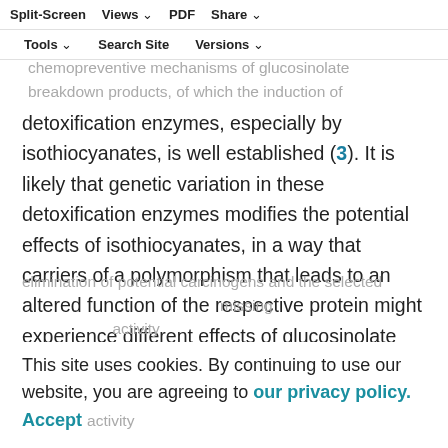within the EPIC-Heidelberg cohort. Experimental studies in prostate and other cell lines ought to assess distinct cancer chemopreventive mechanisms of glucosinolate breakdown products, of which the induction of
Split-Screen | Views | PDF | Share | Tools | Search Site | Versions
detoxification enzymes, especially by isothiocyanates, is well established (3). It is likely that genetic variation in these detoxification enzymes modifies the potential effects of isothiocyanates, in a way that carriers of a polymorphism that leads to an altered function of the respective protein might experience different effects of glucosinolate intake than noncarriers with respect to cancer risk (17). Thus, we chose GSTs and NQO1 because these enzymes play an important role in the
This site uses cookies. By continuing to use our website, you are agreeing to our privacy policy. Accept